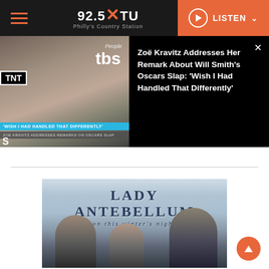92.5 XTU - Philly's Country Station
[Figure (screenshot): News banner with Zoë Kravitz photo on left, TBS and TNT logos visible, overlay text 'WISH I HAD HANDLED THAT DIFFERENTLY' and 'ZOE KRAVITZ ADDRESSES REMARKS ON OSCARS SLAP']
Zoë Kravitz Addresses Her Remark About Will Smith's Oscars Slap: 'Wish I Had Handled That Differently'
[Figure (photo): Lady Antebellum 'On This Winter's Night' album cover showing three band members standing in a snowy landscape with mountains, text reads LADY ANTEBELLUM on this winter's night]